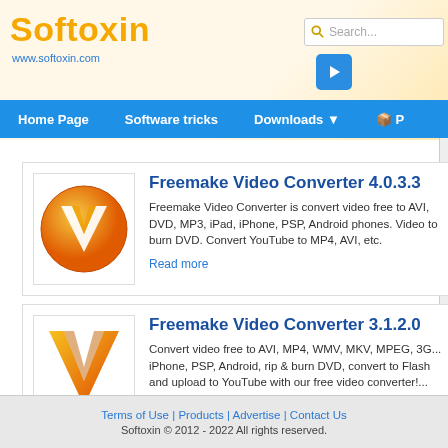Softoxin www.softoxin.com
Home Page | Software tricks | Downloads | P...
Freemake Video Converter 4.0.3.3
Freemake Video Converter is convert video free to AVI, DVD, MP3, iPad, iPhone, PSP, Android phones. Video to burn DVD. Convert YouTube to MP4, AVI, etc.
Read more
Freemake Video Converter 3.1.2.0
Convert video free to AVI, MP4, WMV, MKV, MPEG, 3G... iPhone, PSP, Android, rip & burn DVD, convert to Flash and upload to YouTube with our free video converter!...
Read more
Terms of Use | Products | Advertise | Contact Us
Softoxin © 2012 - 2022 All rights reserved.